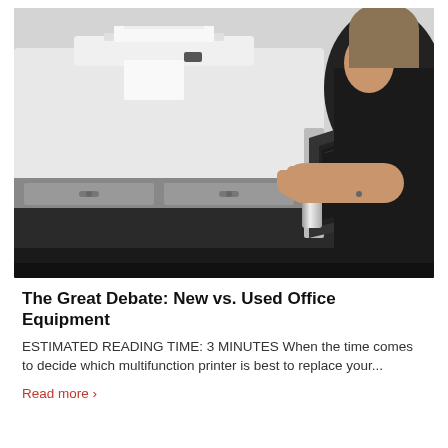[Figure (photo): A person in a black shirt operating a large multifunction office printer/copier. The machine is white and grey with paper trays visible.]
The Great Debate: New vs. Used Office Equipment
ESTIMATED READING TIME: 3 MINUTES When the time comes to decide which multifunction printer is best to replace your...
Read more ›